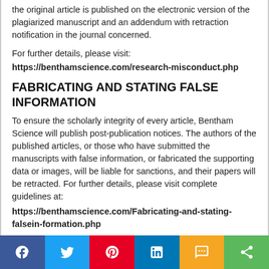the original article is published on the electronic version of the plagiarized manuscript and an addendum with retraction notification in the journal concerned.
For further details, please visit:
https://benthamscience.com/research-misconduct.php
FABRICATING AND STATING FALSE INFORMATION
To ensure the scholarly integrity of every article, Bentham Science will publish post-publication notices. The authors of the published articles, or those who have submitted the manuscripts with false information, or fabricated the supporting data or images, will be liable for sanctions, and their papers will be retracted. For further details, please visit complete guidelines at:
https://benthamscience.com/Fabricating-and-stating-falsein-formation.php
GAIN MORE PUBLICATION REACH AND IMPACT VIA KUDOS
Bentham Science is a publishing partner of Kudos. All authors who publish in this journal will receive an invitation to join the Kudos platform for a free trial of...